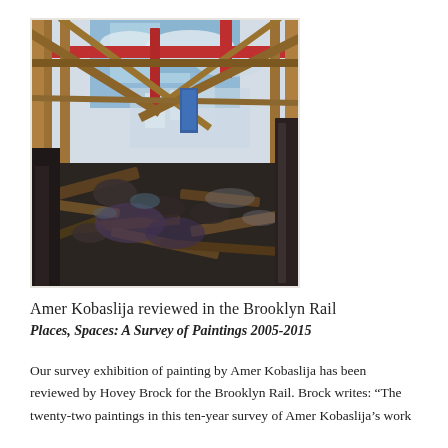[Figure (illustration): A painting depicting an interior industrial or construction scene with scaffolding, wooden beams, scattered debris and machinery parts on the ground, with a blue sky partially visible through the structure above. The palette includes blues, reds, yellows, and dark grays.]
Amer Kobaslija reviewed in the Brooklyn Rail
Places, Spaces: A Survey of Paintings 2005-2015
Our survey exhibition of painting by Amer Kobaslija has been reviewed by Hovey Brock for the Brooklyn Rail. Brock writes: “The twenty-two paintings in this ten-year survey of Amer Kobaslija’s work